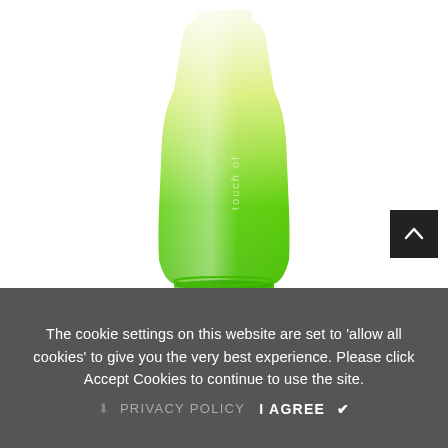[Figure (photo): A green glass perfume bottle (Touch of Green) with transparent-to-green gradient. The bottle is tall and tapered, with embossed text 'touch' visible on the lower portion. The bottle has a circular ridged base. Shown against a white background.]
The cookie settings on this website are set to 'allow all cookies' to give you the very best experience. Please click Accept Cookies to continue to use the site.
PRIVACY POLICY   I AGREE  ✓